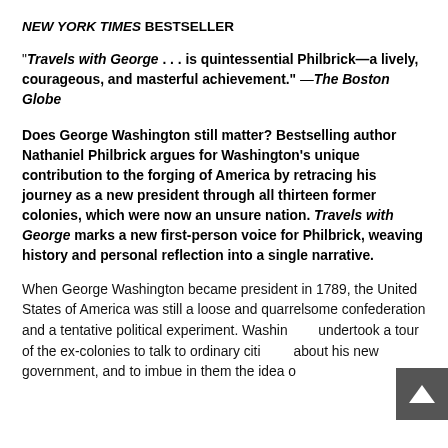NEW YORK TIMES BESTSELLER
"Travels with George . . . is quintessential Philbrick—a lively, courageous, and masterful achievement." —The Boston Globe
Does George Washington still matter? Bestselling author Nathaniel Philbrick argues for Washington's unique contribution to the forging of America by retracing his journey as a new president through all thirteen former colonies, which were now an unsure nation. Travels with George marks a new first-person voice for Philbrick, weaving history and personal reflection into a single narrative.
When George Washington became president in 1789, the United States of America was still a loose and quarrelsome confederation and a tentative political experiment. Washington undertook a tour of the ex-colonies to talk to ordinary citizens about his new government, and to imbue in them the idea of